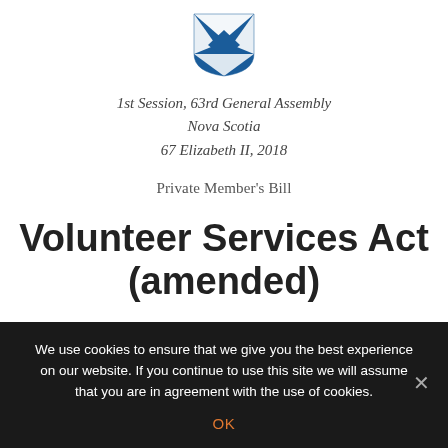[Figure (logo): Nova Scotia government shield/crest logo in blue and white]
1st Session, 63rd General Assembly
Nova Scotia
67 Elizabeth II, 2018
Private Member's Bill
Volunteer Services Act (amended)
CHAPTER 20 OF THE ACTS OF 2018
Keith Bri...
We use cookies to ensure that we give you the best experience on our website. If you continue to use this site we will assume that you are in agreement with the use of cookies.
OK